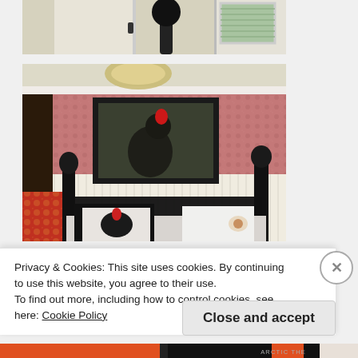[Figure (photo): Partial view of a room showing a door on the left, a black lamp in the center, and a window with blinds on the right, with cream-colored walls.]
[Figure (photo): Bedroom interior with pink/red floral wallpaper on the upper half, white beadboard wainscoting on the lower half, a framed rooster painting on the wall, a black four-poster bed with rooster-themed pillows, a ceiling light, dark wood furniture on the left, and a red floral chair in the bottom left corner.]
Privacy & Cookies: This site uses cookies. By continuing to use this website, you agree to their use.
To find out more, including how to control cookies, see here: Cookie Policy
Close and accept